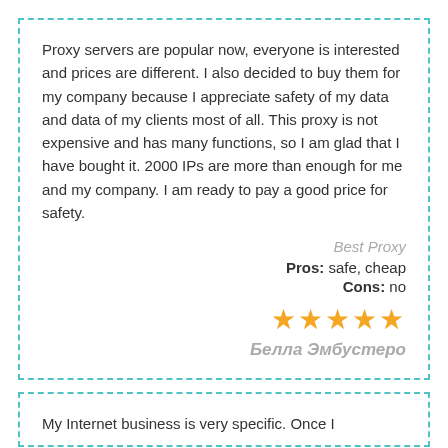Proxy servers are popular now, everyone is interested and prices are different. I also decided to buy them for my company because I appreciate safety of my data and data of my clients most of all. This proxy is not expensive and has many functions, so I am glad that I have bought it. 2000 IPs are more than enough for me and my company. I am ready to pay a good price for safety.
Best Proxy
Pros: safe, cheap
Cons: no
[Figure (other): Five gold star rating icons]
Белла Эмбустеро
My Internet business is very specific. Once I